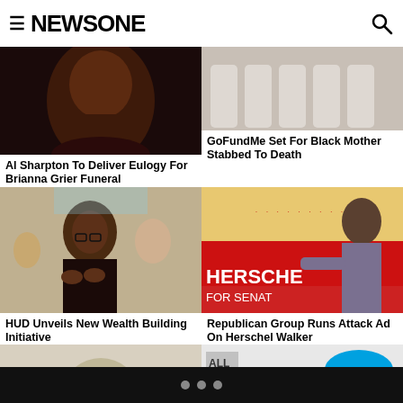NEWSONE
[Figure (photo): Close-up photo of a young Black woman smiling]
Al Sharpton To Deliver Eulogy For Brianna Grier Funeral
[Figure (photo): Photo of children, young girls posing in matching outfits]
GoFundMe Set For Black Mother Stabbed To Death
[Figure (photo): Photo of an older Black woman with glasses clapping her hands at an event]
HUD Unveils New Wealth Building Initiative
[Figure (photo): Photo of Herschel Walker at a campaign event in front of a Herschel for Senate sign]
Republican Group Runs Attack Ad On Herschel Walker
[Figure (photo): Partial photo bottom left, partially visible]
[Figure (photo): Partial photo bottom right with Salesforce logo visible]